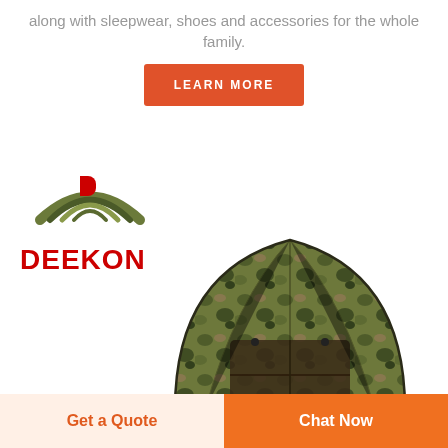along with sleepwear, shoes and accessories for the whole family.
LEARN MORE
[Figure (logo): DEEKON logo with camouflage arc symbol above red bold text DEEKON]
[Figure (photo): Camouflage pop-up privacy tent / hunting blind with leaf pattern, dome shaped with open window flap]
Get a Quote
Chat Now